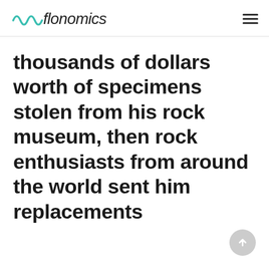flonomics
thousands of dollars worth of specimens stolen from his rock museum, then rock enthusiasts from around the world sent him replacements